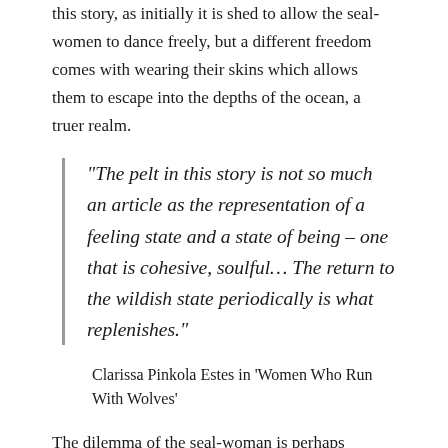this story, as initially it is shed to allow the seal-women to dance freely, but a different freedom comes with wearing their skins which allows them to escape into the depths of the ocean, a truer realm.
“The pelt in this story is not so much an article as the representation of a feeling state and a state of being – one that is cohesive, soulful… The return to the wildish state periodically is what replenishes.”
Clarissa Pinkola Estes in ‘Women Who Run With Wolves’
The dilemma of the seal-woman is perhaps indicative of the conflicts of living a full and creative life: there is a time for shedding one’s skin, for revealing talents and beauty, but